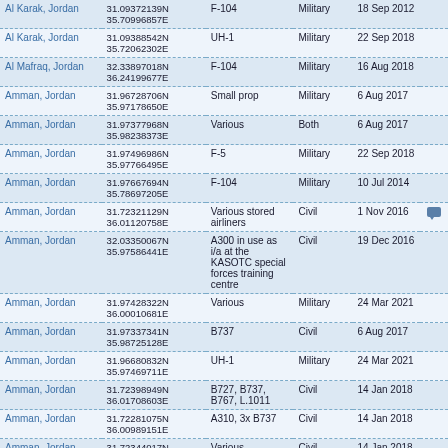| Location | Coordinates | Aircraft | Type | Date |
| --- | --- | --- | --- | --- |
| Al Karak, Jordan | 31.09372139N
35.70996857E | F-104 | Military | 18 Sep 2012 |
| Al Karak, Jordan | 31.09388542N
35.72062302E | UH-1 | Military | 22 Sep 2018 |
| Al Mafraq, Jordan | 32.33897018N
36.24199677E | F-104 | Military | 16 Aug 2018 |
| Amman, Jordan | 31.96728706N
35.97178650E | Small prop | Military | 6 Aug 2017 |
| Amman, Jordan | 31.97377968N
35.98238373E | Various | Both | 6 Aug 2017 |
| Amman, Jordan | 31.97496986N
35.97766495E | F-5 | Military | 22 Sep 2018 |
| Amman, Jordan | 31.97667694N
35.78697205E | F-104 | Military | 10 Jul 2014 |
| Amman, Jordan | 31.72321129N
36.01120758E | Various stored airliners | Civil | 1 Nov 2016 |
| Amman, Jordan | 32.03350067N
35.97586441E | A300 in use as i/a at the KASOTC special forces training centre | Civil | 19 Dec 2016 |
| Amman, Jordan | 31.97428322N
36.00010681E | Various | Military | 24 Mar 2021 |
| Amman, Jordan | 31.97337341N
35.98725128E | B737 | Civil | 6 Aug 2017 |
| Amman, Jordan | 31.96680832N
35.97469711E | UH-1 | Military | 24 Mar 2021 |
| Amman, Jordan | 31.72398949N
36.01708603E | B727, B737, B767, L.1011 | Civil | 14 Jan 2018 |
| Amman, Jordan | 31.72281075N
36.00989151E | A310, 3x B737 | Civil | 14 Jan 2018 |
| Amman, Jordan | 31.72344017N
36.01397324E | Various | Civil | 14 Jan 2018 |
| Amman, Jordan | 31.97252982N | L.1011 | Civil | 21 Feb 2018 |